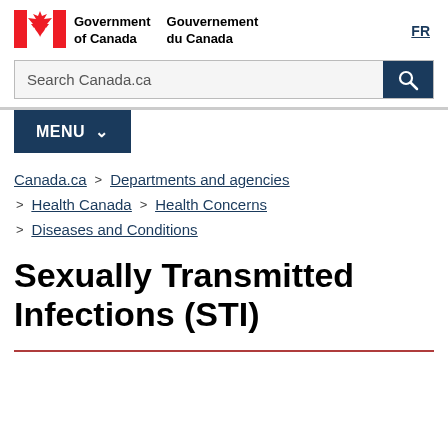[Figure (logo): Government of Canada / Gouvernement du Canada logo with Canadian flag maple leaf symbol]
Government of Canada / Gouvernement du Canada
FR
Search Canada.ca
MENU
Canada.ca > Departments and agencies
> Health Canada > Health Concerns
> Diseases and Conditions
Sexually Transmitted Infections (STI)